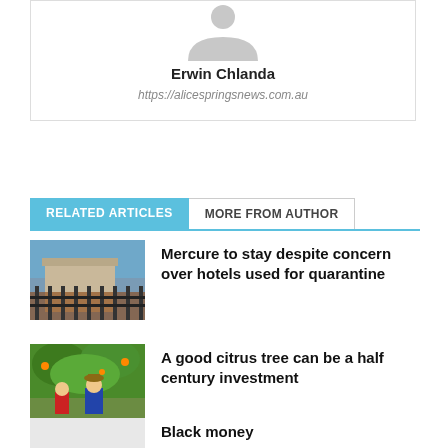[Figure (illustration): Generic user avatar silhouette (gray person icon on white background)]
Erwin Chlanda
https://alicespringsnews.com.au
RELATED ARTICLES
MORE FROM AUTHOR
[Figure (photo): Photo of a building with iron fence, blue sky background]
Mercure to stay despite concern over hotels used for quarantine
[Figure (photo): Photo of two people standing in front of citrus trees]
A good citrus tree can be a half century investment
[Figure (photo): Light gray placeholder image]
Black money